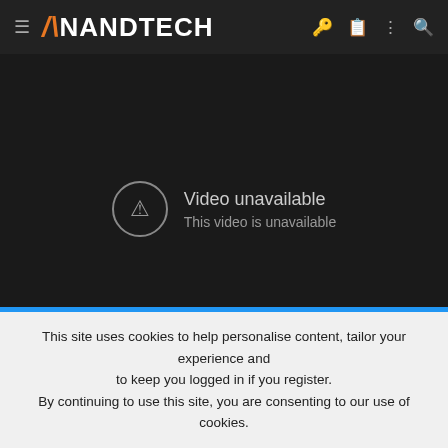AnandTech navigation bar
[Figure (screenshot): Embedded video player showing 'Video unavailable - This video is unavailable' error message on dark background with YouTube icon in corner]
I loved the first three games and look forward to this one.
This site uses cookies to help personalise content, tailor your experience and to keep you logged in if you register. By continuing to use this site, you are consenting to our use of cookies.